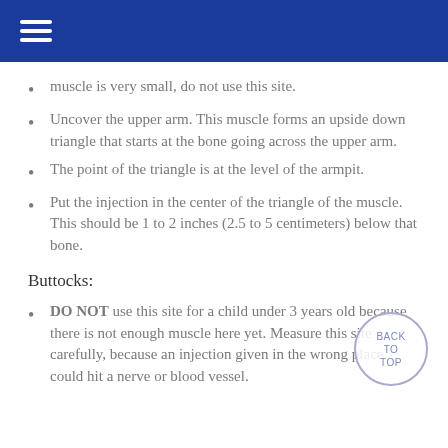muscle is very small, do not use this site.
Uncover the upper arm. This muscle forms an upside down triangle that starts at the bone going across the upper arm.
The point of the triangle is at the level of the armpit.
Put the injection in the center of the triangle of the muscle. This should be 1 to 2 inches (2.5 to 5 centimeters) below that bone.
Buttocks:
DO NOT use this site for a child under 3 years old because there is not enough muscle here yet. Measure this site carefully, because an injection given in the wrong place could hit a nerve or blood vessel.